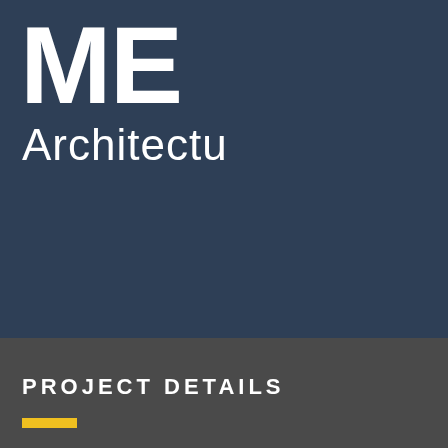[Figure (logo): Partial logo showing large white letters 'ME' (or similar initials) on a dark navy blue background, with the word 'Architectu' (Architecture, partially visible) in lighter weight text below the initials.]
PROJECT DETAILS